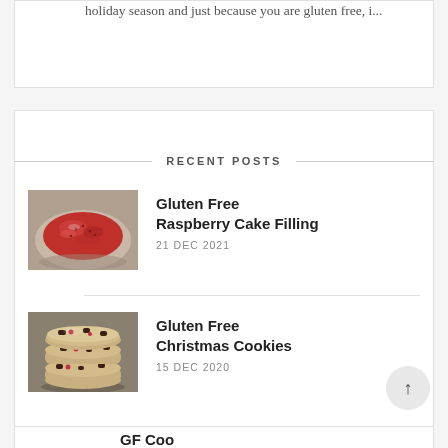holiday season and just because you are gluten free, i...
RECENT POSTS
[Figure (photo): A bowl of red raspberry jam or filling, shiny and gelatinous]
Gluten Free Raspberry Cake Filling
21 DEC 2021
[Figure (photo): A stack of gluten free Christmas cookies with chocolate chips and red pieces]
Gluten Free Christmas Cookies
15 DEC 2020